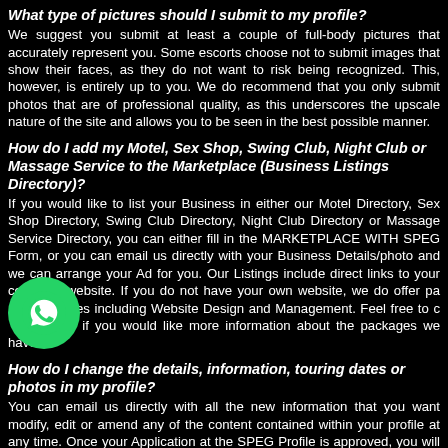What type of pictures should I submit to my profile?
We suggest you submit at least a couple of full-body pictures that accurately represent you. Some escorts choose not to submit images that show their faces, as they do not want to risk being recognized. This, however, is entirely up to you. We do recommend that you only submit photos that are of professional quality, as this underscores the upscale nature of the site and allows you to be seen in the best possible manner.
How do I add my Motel, Sex Shop, Swing Club, Night Club or Massage Service to the Marketplace (Business Listings Directory)?
If you would like to list your Business in either our Motel Directory, Sex Shop Directory, Swing Club Directory, Night Club Directory or Massage Service Directory, you can either fill in the MARKETPLACE WITH SPEG Form, or you can email us directly with your Business Details/photo and we can arrange your Ad for you. Our Listings include direct links to your company website. If you do not have your own website, we do offer packages including Website Design and Management. Feel free to contact us if you would like more information about the packages we have available.
[Figure (logo): WhatsApp button - green circle with white WhatsApp phone icon]
How do I change the details, information, touring dates or photos in my profile?
You can email us directly with all the new information that you want modify, edit or amend any of the content contained within your profile at any time. Once your Application at the SPEG Profile is approved, you will receive a confirmation email (check your Junk Mail if you can't find it in your Inbox). If you prefer to have our Management Team handle your profile for you, all you need to do is email us with the updated information or new images, and we can update your profile for you, generally within